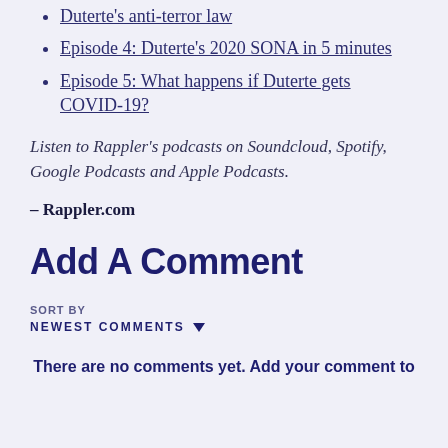Episode 4: Duterte's 2020 SONA in 5 minutes
Episode 5: What happens if Duterte gets COVID-19?
Listen to Rappler's podcasts on Soundcloud, Spotify, Google Podcasts and Apple Podcasts.
– Rappler.com
Add A Comment
SORT BY
NEWEST COMMENTS
There are no comments yet. Add your comment to